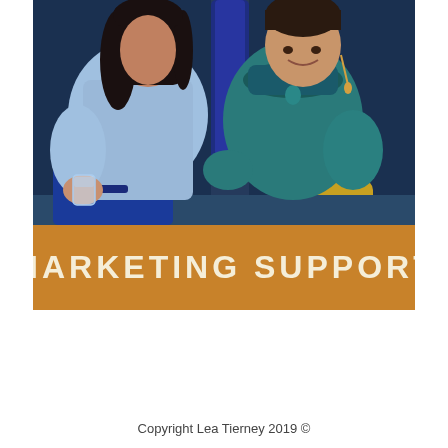[Figure (photo): Two women sitting together and conversing. The woman on the left wears a light blue shirt and blue pants and holds a glass of water. The woman on the right wears a teal/turquoise top with a decorative neckline and earrings. A blue vase and yellow cushion are visible in the background. Below the photo is an orange banner with the text MARKETING SUPPORT in cream/white uppercase letters.]
Copyright Lea Tierney 2019 ©